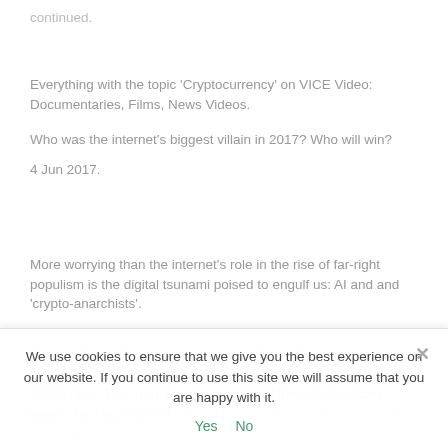continued.
Everything with the topic 'Cryptocurrency' on VICE Video: Documentaries, Films, News Videos.
Who was the internet's biggest villain in 2017? Who will win?
4 Jun 2017.
More worrying than the internet's role in the rise of far-right populism is the digital tsunami poised to engulf us: AI and and 'crypto-anarchists'.
Syscoin Price Chart (sys Best Bitcoin Wallet For Mac 15 Jun 2020. Best Bitcoin Wallet for Mac OS X. new-electrum-textlogo-9809176. 1. Electrum. Electrum is one of the oldest Bitcoin wallets for Mac OS X in. Bitcoin Like Coinbase 19 Aug 2019. Top exchanges like Coinbase
We use cookies to ensure that we give you the best experience on our website. If you continue to use this site we will assume that you are happy with it.
Yes   No